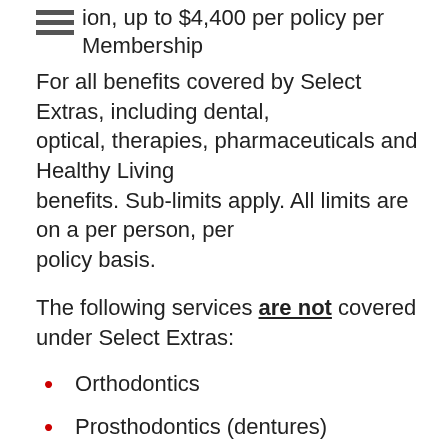ion, up to $4,400 per policy per Membership
For all benefits covered by Select Extras, including dental, optical, therapies, pharmaceuticals and Healthy Living benefits. Sub-limits apply. All limits are on a per person, per policy basis.
The following services are not covered under Select Extras:
Orthodontics
Prosthodontics (dentures)
Osteopathy
Dietitian
Chinese Medicine